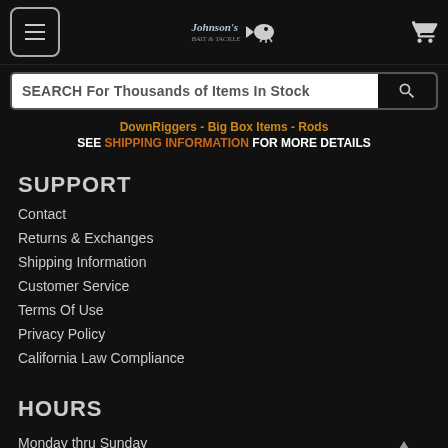Johnson's Bait & Tackle — navigation header with menu button, logo, and cart icon
SEARCH For Thousands of Items In Stock
DownRiggers - Big Box Items - Rods
SEE SHIPPING INFORMATION FOR MORE DETAILS
SUPPORT
Contact
Returns & Exchanges
Shipping Information
Customer Service
Terms Of Use
Privacy Policy
California Law Compliance
HOURS
Monday thru Sunday
6:00am - 6:00pm